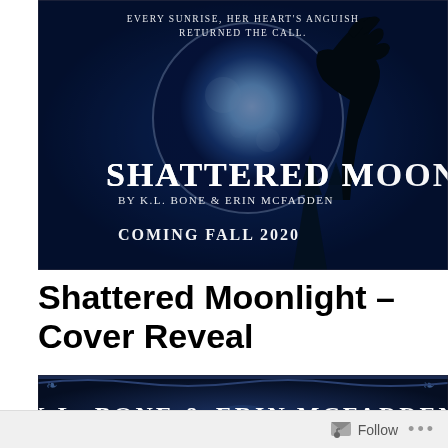[Figure (illustration): Book cover teaser image: dark blue atmospheric background with a large full moon, a wolf silhouette howling at the moon, pine trees, text reading 'EVERY SUNRISE, HER HEART'S ANGUISH RETURNED THE CALL.' at top, then 'SHATTERED MOONLIGHT BY K.L. BONE & ERIN McFADDEN' in large stylized white text, and 'COMING FALL 2020' below]
Shattered Moonlight – Cover Reveal
[Figure (illustration): Bottom portion of book cover showing dark decorative background with ornate scrollwork borders and text 'K.L. BONE & ERIN MCFADDEN' in large white letters]